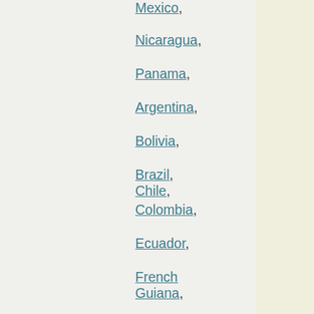Mexico,
Nicaragua,
Panama,
Argentina,
Bolivia,
Brazil, Chile,
Colombia,
Ecuador,
French Guiana,
Guyana,
Paraguay,
Peru,
Suriname,
Uruguay,
Venezuela,
Anguilla,
Turks and Caicos Islands,
Antigua and Barbuda,